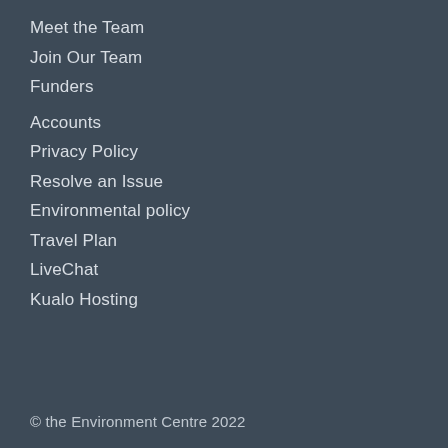Meet the Team
Join Our Team
Funders
Accounts
Privacy Policy
Resolve an Issue
Environmental policy
Travel Plan
LiveChat
Kualo Hosting
© the Environment Centre 2022